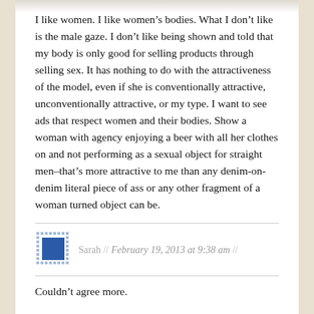I like women. I like women’s bodies. What I don’t like is the male gaze. I don’t like being shown and told that my body is only good for selling products through selling sex. It has nothing to do with the attractiveness of the model, even if she is conventionally attractive, unconventionally attractive, or my type. I want to see ads that respect women and their bodies. Show a woman with agency enjoying a beer with all her clothes on and not performing as a sexual object for straight men–that’s more attractive to me than any denim-on-denim literal piece of ass or any other fragment of a woman turned object can be.
Sarah // February 19, 2013 at 9:38 am //
Couldn’t agree more.